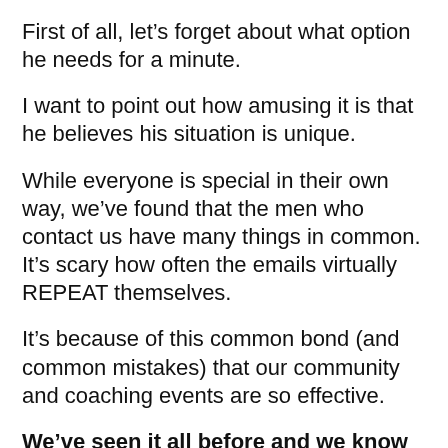First of all, let's forget about what option he needs for a minute.
I want to point out how amusing it is that he believes his situation is unique.
While everyone is special in their own way, we've found that the men who contact us have many things in common. It's scary how often the emails virtually REPEAT themselves.
It's because of this common bond (and common mistakes) that our community and coaching events are so effective.
We've seen it all before and we know the path to getting you through it with strength, confidence…and even a